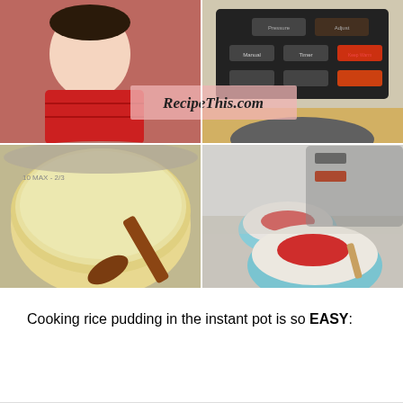[Figure (photo): A 2x2 photo collage showing: top-left a child in a red sweater, top-right an Instant Pot pressure cooker control panel, bottom-left creamy rice pudding in a metal pot being stirred with a wooden spoon, bottom-right two blue floral bowls of rice pudding topped with red jam in front of an Instant Pot. A watermark reads 'RecipeThis.com'.]
Cooking rice pudding in the instant pot is so EASY: